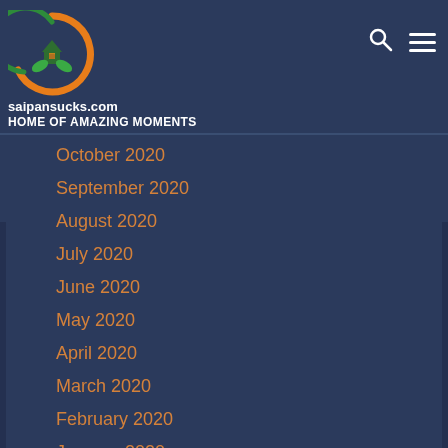[Figure (logo): Circular logo with orange and green crescent shapes surrounding a house with a leaf, on dark blue background]
saipansucks.com
HOME OF AMAZING MOMENTS
October 2020
September 2020
August 2020
July 2020
June 2020
May 2020
April 2020
March 2020
February 2020
January 2020
December 2019